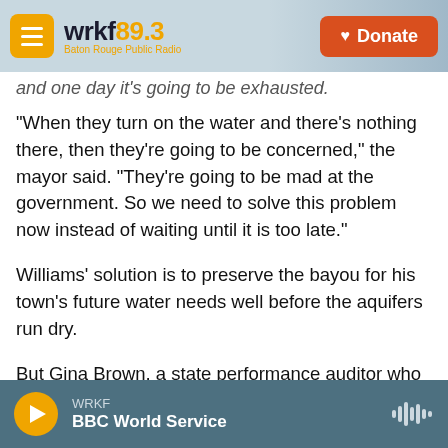[Figure (screenshot): WRKF 89.3 Baton Rouge Public Radio website header with orange menu button, logo, and red Donate button]
and one day it’s going to be exhausted.
“When they turn on the water and there’s nothing there, then they’re going to be concerned,” the mayor said. “They're going to be mad at the government. So we need to solve this problem now instead of waiting until it is too late.”
Williams’ solution is to preserve the bayou for his town’s future water needs well before the aquifers run dry.
But Gina Brown, a state performance auditor who has studied the state’s water management issues,
WRKF BBC World Service